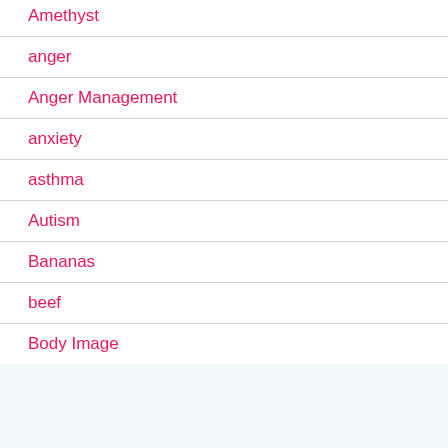Amethyst
anger
Anger Management
anxiety
asthma
Autism
Bananas
beef
Body Image